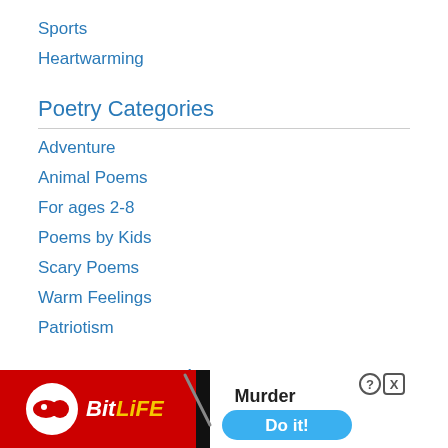Sports
Heartwarming
Poetry Categories
Adventure
Animal Poems
For ages 2-8
Poems by Kids
Scary Poems
Warm Feelings
Patriotism
Prayer Categories
Table Graces
Bed...
Dai...
[Figure (screenshot): BitLife game advertisement banner at the bottom with red background, showing BitLife logo, a knife, 'Murder' text and 'Do it!' button on a white/blue section, with close (X) and help (?) buttons.]